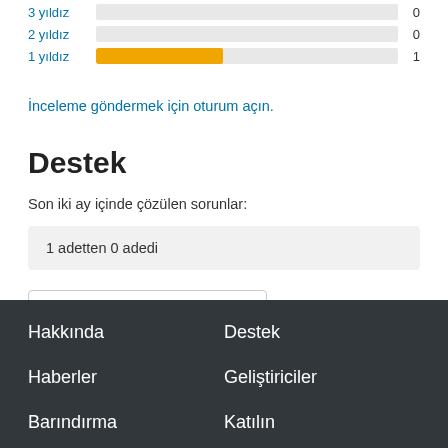[Figure (bar-chart): Star ratings]
İnceleme göndermek için oturum açın.
Destek
Son iki ay içinde çözülen sorunlar:
1 adetten 0 adedi
Destek forumunu görüntüle
Hakkında  Destek  Haberler  Geliştiriciler  Barındırma  Katılın